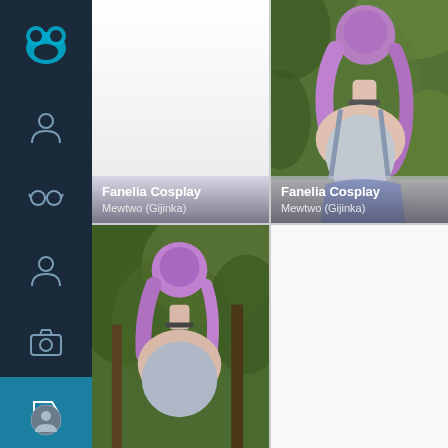[Figure (screenshot): Web application sidebar with dark navy background containing navigation icons: a teal monster/face logo at top, person icon, glasses icon, person icon, camera icon, and an active tag/label icon highlighted in teal. A small avatar circle appears at the bottom.]
[Figure (photo): Top-left grid cell: mostly white/light grey, appears to be a faded or partially loaded image with label overlay reading Fanelia Cosplay / Mewtwo (Gijinka)]
Fanelia Cosplay
Mewtwo (Gijinka)
[Figure (photo): Top-right grid cell: cosplay photo of a person with purple/lavender hair styled in a bun, shown from the side/back, wearing a backless outfit, set against green foliage background. Label overlay reads Fanelia Cosplay / Mewtwo (Gijinka)]
Fanelia Cosplay
Mewtwo (Gijinka)
[Figure (photo): Bottom-left grid cell: outdoor photo of a person with purple hair in a bun, viewed from behind/side, set against trees and green foliage background.]
[Figure (photo): Bottom-right grid cell: mostly white/blank area.]